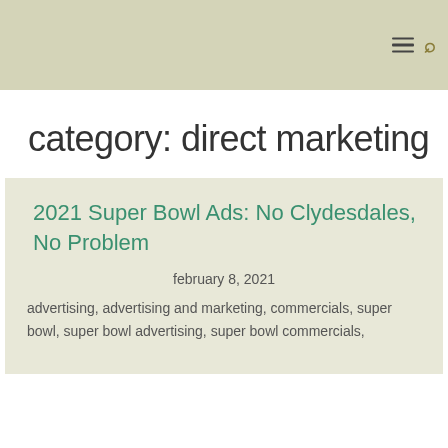category: direct marketing
2021 Super Bowl Ads: No Clydesdales, No Problem
february 8, 2021
advertising, advertising and marketing, commercials, super bowl, super bowl advertising, super bowl commercials,